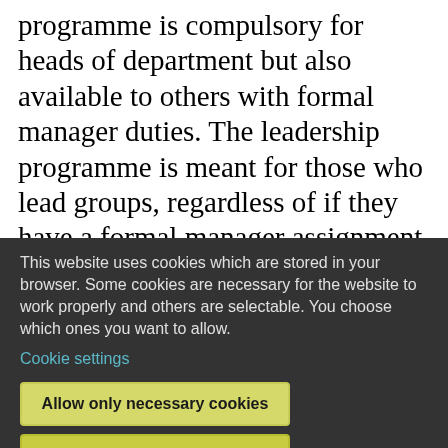programme is compulsory for heads of department but also available to others with formal manager duties. The leadership programme is meant for those who lead groups, regardless of if they have a formal manager assignment or not. We also offer recurring training for managers who are responsible for other managers (indirect leadership), project management training
This website uses cookies which are stored in your browser. Some cookies are necessary for the website to work properly and others are selectable. You choose which ones you want to allow.
Cookie settings
Allow only necessary cookies
Allow all cookies